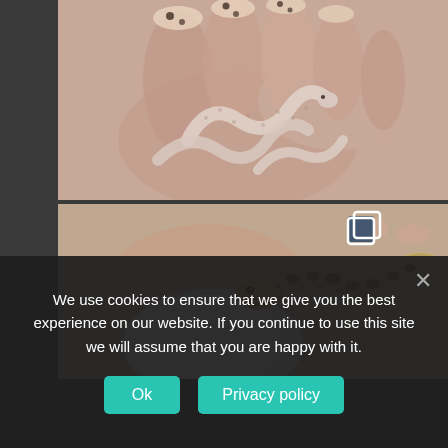[Figure (photo): Close-up photo of small pale/pink baby snakes coiled in a person's hand. The hand has painted nails with dark spots pattern. The snakes appear to be hatchlings.]
[Figure (photo): Close-up photo of a patterned snake (brown/tan with spots) hatching from an egg or coiled near an egg, held in a person's hand.]
We use cookies to ensure that we give you the best experience on our website. If you continue to use this site we will assume that you are happy with it.
Ok
Privacy policy